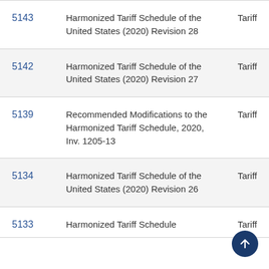| ID | Description | Type |
| --- | --- | --- |
| 5143 | Harmonized Tariff Schedule of the United States (2020) Revision 28 | Tariff |
| 5142 | Harmonized Tariff Schedule of the United States (2020) Revision 27 | Tariff |
| 5139 | Recommended Modifications to the Harmonized Tariff Schedule, 2020, Inv. 1205-13 | Tariff |
| 5134 | Harmonized Tariff Schedule of the United States (2020) Revision 26 | Tariff |
| 5133 | Harmonized Tariff Schedule | Tariff |